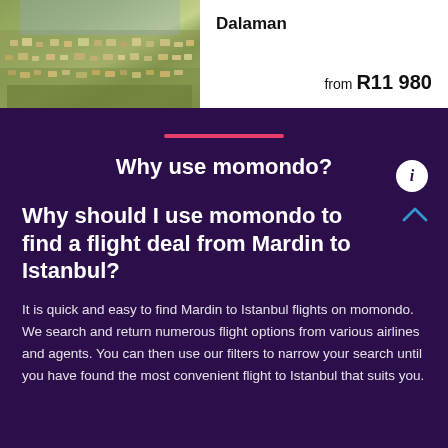[Figure (photo): Aerial photo of a dense city/town with buildings and greenery, likely Dalaman, Turkey]
Dalaman
from R11 980
[Figure (other): Pink horizontal divider line on dark purple background]
Why use momondo?
Why should I use momondo to find a flight deal from Mardin to Istanbul?
It is quick and easy to find Mardin to Istanbul flights on momondo. We search and return numerous flight options from various airlines and agents. You can then use our filters to narrow your search until you have found the most convenient flight to Istanbul that suits you.